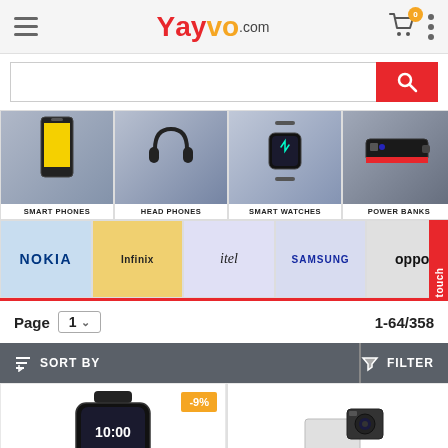[Figure (screenshot): Yayvo.com e-commerce website header with hamburger menu, logo, cart icon with badge (0), and dots menu]
[Figure (screenshot): Search bar with red search button]
[Figure (screenshot): Category strip showing SMART PHONES, HEAD PHONES, SMART WATCHES, POWER BANKS]
[Figure (screenshot): Brand strip showing NOKIA, Infinix, itel, SAMSUNG, oppo]
Page  1  1-64/358
SORT BY    FILTER
[Figure (screenshot): Product grid showing smartwatch with -9% badge and a camera/charger product]